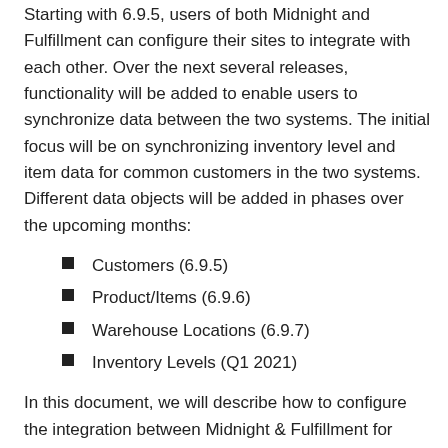Starting with 6.9.5, users of both Midnight and Fulfillment can configure their sites to integrate with each other. Over the next several releases, functionality will be added to enable users to synchronize data between the two systems. The initial focus will be on synchronizing inventory level and item data for common customers in the two systems. Different data objects will be added in phases over the upcoming months:
Customers (6.9.5)
Product/Items (6.9.6)
Warehouse Locations (6.9.7)
Inventory Levels (Q1 2021)
In this document, we will describe how to configure the integration between Midnight & Fulfillment for linking and synchronizing Customers.